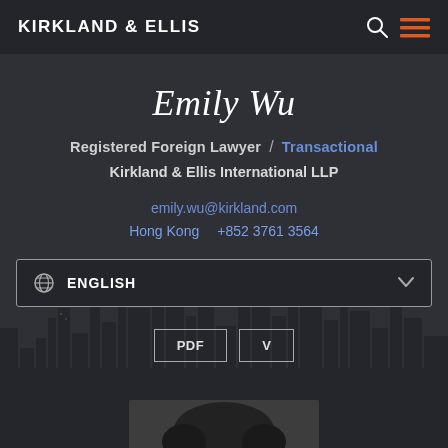KIRKLAND & ELLIS
Emily Wu
Registered Foreign Lawyer / Transactional
Kirkland & Ellis International LLP
emily.wu@kirkland.com
Hong Kong  +852 3761 3564
ENGLISH
PDF   V
[Figure (photo): Partial photo of Emily Wu at the bottom of the page, showing top of head/hair]